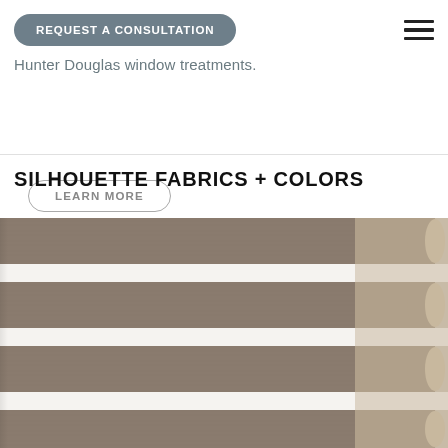REQUEST A CONSULTATION
Hunter Douglas window treatments.
LEARN MORE
SILHOUETTE FABRICS + COLORS
[Figure (photo): Close-up photo of Silhouette window blinds showing horizontal fabric vanes in taupe/gray-brown color with white background gaps between vanes, partially overlaid by a wood-toned vane section on right side.]